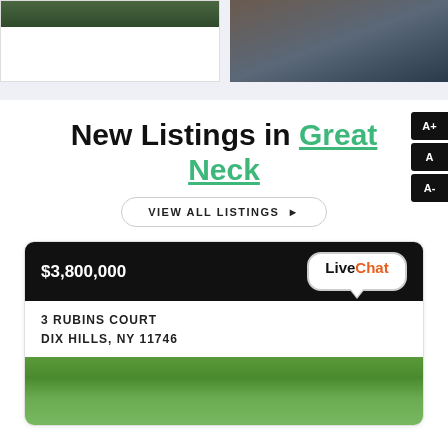[Figure (photo): Two property photos at top: left shows greenery/garden, right shows outdoor evening scene with person]
New Listings in Great Neck
VIEW ALL LISTINGS ▶
$3,800,000
[Figure (logo): LiveChat logo bubble]
3 RUBINS COURT
DIX HILLS, NY 11746
[Figure (photo): Property photo showing trees and greenery]